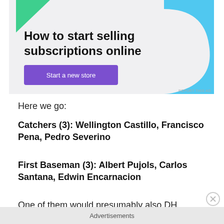[Figure (illustration): Advertisement banner with light gray background, green triangle shape top-left, blue curved shape top-right, headline 'How to start selling subscriptions online', and a purple button labeled 'Start a new store'. Small 'REPORT THIS AD' text at bottom right.]
Here we go:
Catchers (3): Wellington Castillo, Francisco Pena, Pedro Severino
First Baseman (3): Albert Pujols, Carlos Santana, Edwin Encarnacion
One of them would presumably also DH, obviously.
Advertisements